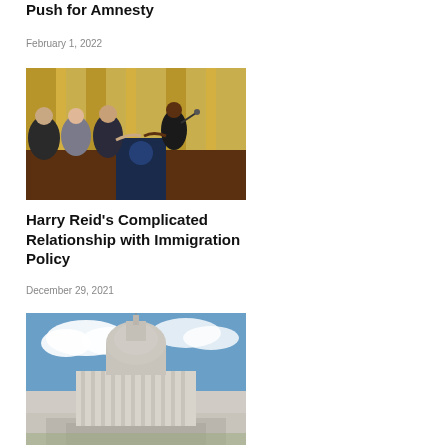Push for Amnesty
February 1, 2022
[Figure (photo): Group of people shaking hands at a formal event with gold curtains and a podium, likely a legislative signing ceremony.]
Harry Reid's Complicated Relationship with Immigration Policy
December 29, 2021
[Figure (photo): View of the United States Capitol building with blue sky and clouds in background.]